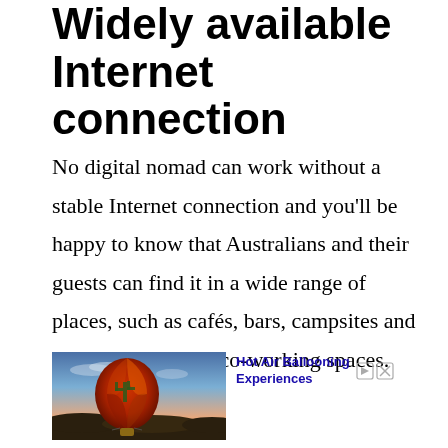Widely available Internet connection
No digital nomad can work without a stable Internet connection and you'll be happy to know that Australians and their guests can find it in a wide range of places, such as cafés, bars, campsites and specially designed co-working spaces.
[Figure (photo): Advertisement showing a hot air balloon with a cactus design floating at sunset over a desert landscape, with text 'Hot Air Ballooning Experiences']
Ad